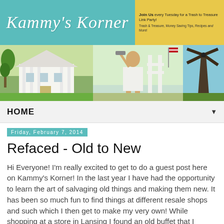[Figure (logo): Kammy's Korner blog header banner with teal/turquoise background, cursive white logo text, and yellow sidebar with 'Join Us every Tuesday for a Trash to Treasure Link Party!' and 'Trash & Treasure, Money Saving Tips, Recipes and More!']
[Figure (photo): Three-photo strip: white antebellum-style house with columns, woman holding paint roller sitting on swing with American flag, windmill close-up]
HOME ▼
Friday, February 7, 2014
Refaced - Old to New
Hi Everyone! I'm really excited to get to do a guest post here on Kammy's Korner! In the last year I have had the opportunity to learn the art of salvaging old things and making them new. It has been so much fun to find things at different resale shops and such which I then get to make my very own! While shopping at a store in Lansing I found an old buffet that I thought would make an awesome entertainment